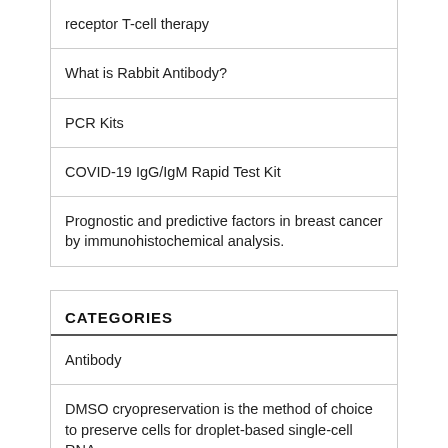receptor T-cell therapy
What is Rabbit Antibody?
PCR Kits
COVID-19 IgG/IgM Rapid Test Kit
Prognostic and predictive factors in breast cancer by immunohistochemical analysis.
CATEGORIES
Antibody
DMSO cryopreservation is the method of choice to preserve cells for droplet-based single-cell RNA